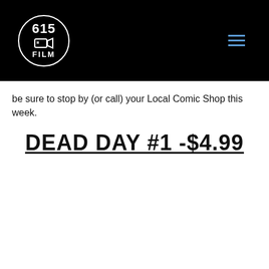[Figure (logo): 615 Film logo — white circle with '615' text, a film camera icon, and 'FILM' text on black background header with hamburger menu icon in blue on the right]
be sure to stop by (or call) your Local Comic Shop this week.
DEAD DAY #1 -$4.99